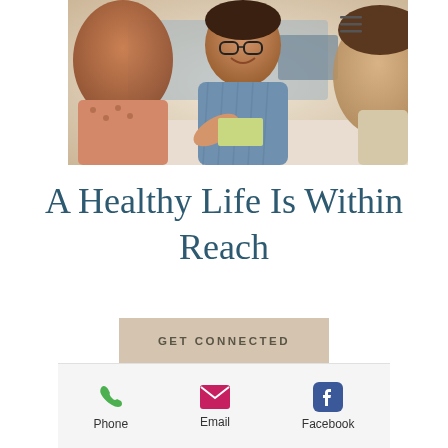[Figure (photo): Photo of a smiling woman with glasses at a desk consulting with two other people in a medical or office setting]
A Healthy Life Is Within Reach
GET CONNECTED
Phone   Email   Facebook